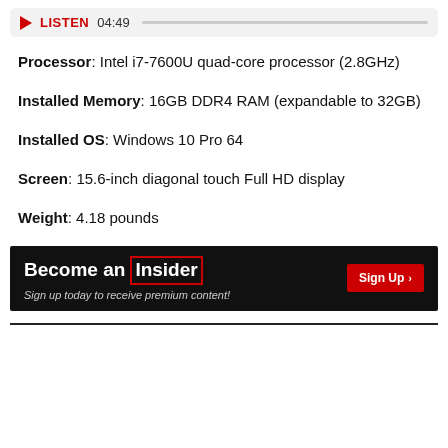[Figure (other): Audio player bar with play button, LISTEN label, timestamp 04:49, and progress bar]
Processor: Intel i7-7600U quad-core processor (2.8GHz)
Installed Memory: 16GB DDR4 RAM (expandable to 32GB)
Installed OS: Windows 10 Pro 64
Screen: 15.6-inch diagonal touch Full HD display
Weight: 4.18 pounds
[Figure (infographic): Become an Insider banner with Sign Up button and tagline: Sign up today to receive premium content!]